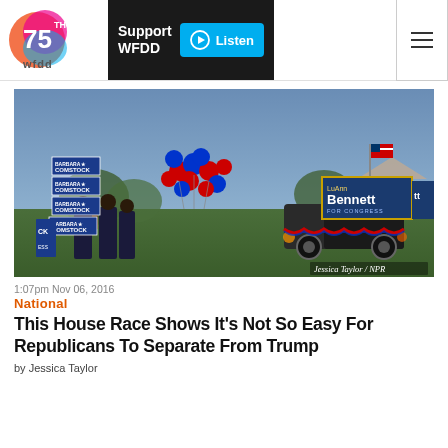WFDD 75th Anniversary | Support WFDD | Listen | Menu
[Figure (photo): Outdoor political rally scene at dusk showing supporters holding Barbara Comstock for Congress signs with red and blue balloons on the left, and a truck with a LuAnn Bennett for Congress sign on the right, American flag visible, grass field setting.]
Jessica Taylor / NPR
1:07pm Nov 06, 2016
National
This House Race Shows It's Not So Easy For Republicans To Separate From Trump
by Jessica Taylor